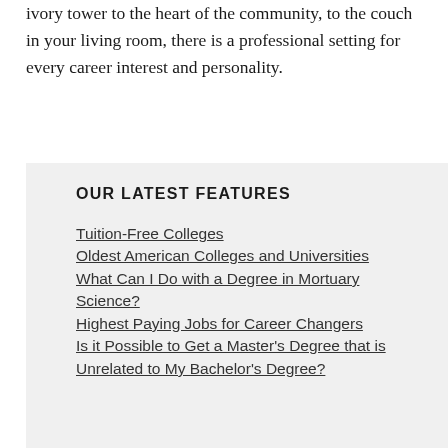ivory tower to the heart of the community, to the couch in your living room, there is a professional setting for every career interest and personality.
OUR LATEST FEATURES
Tuition-Free Colleges
Oldest American Colleges and Universities
What Can I Do with a Degree in Mortuary Science?
Highest Paying Jobs for Career Changers
Is it Possible to Get a Master's Degree that is Unrelated to My Bachelor's Degree?